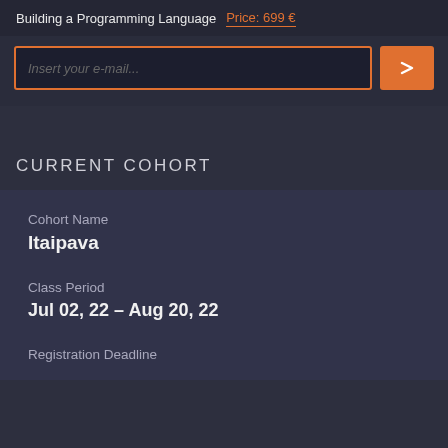Building a Programming Language   Price: 699 €
[Figure (screenshot): Email input field with orange border and orange submit button]
CURRENT COHORT
Cohort Name
Itaipava
Class Period
Jul 02, 22 - Aug 20, 22
Registration Deadline